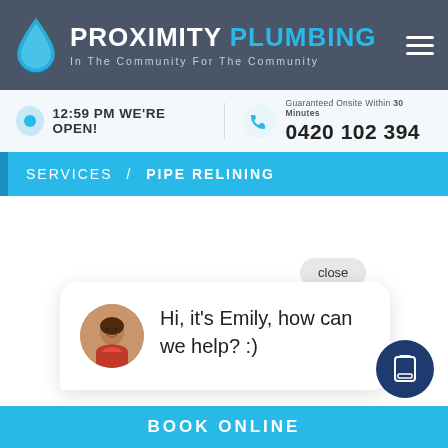PROXIMITY PLUMBING — In The Community For The Community
12:59 PM WE'RE OPEN!
Guaranteed Onsite Within 30 Minutes
0420 102 394
SERVICES / PIPE RELINING
close
Hi, it's Emily, how can we help? :)
BOOK ONLINE